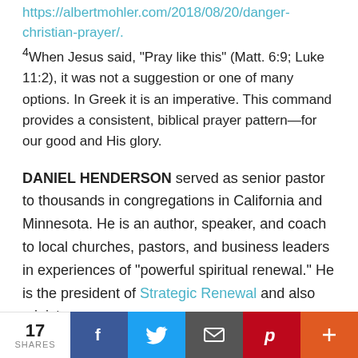https://albertmohler.com/2018/08/20/danger-christian-prayer/.
4When Jesus said, “Pray like this” (Matt. 6:9; Luke 11:2), it was not a suggestion or one of many options. In Greek it is an imperative. This command provides a consistent, biblical prayer pattern—for our good and His glory.
DANIEL HENDERSON served as senior pastor to thousands in congregations in California and Minnesota. He is an author, speaker, and coach to local churches, pastors, and business leaders in experiences of “powerful spiritual renewal.” He is the president of Strategic Renewal and also ministers
17 SHARES